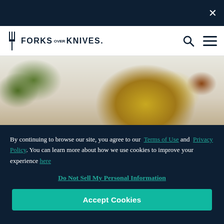Forks Over Knives - navigation bar with close button, search, and menu icons
[Figure (photo): Food photo showing vegetables including broccoli, cauliflower, and a dish with yellow sauce/topping on a light background]
By continuing to browse our site, you agree to our Terms of Use and Privacy Policy. You can learn more about how we use cookies to improve your experience here
Do Not Sell My Personal Information
Accept Cookies